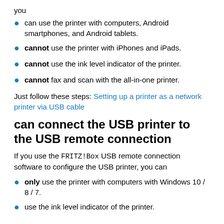you
can use the printer with computers, Android smartphones, and Android tablets.
cannot use the printer with iPhones and iPads.
cannot use the ink level indicator of the printer.
cannot fax and scan with the all-in-one printer.
Just follow these steps: Setting up a printer as a network printer via USB cable
can connect the USB printer to the USB remote connection
If you use the FRITZ!Box USB remote connection software to configure the USB printer, you can
only use the printer with computers with Windows 10 / 8 / 7.
use the ink level indicator of the printer.